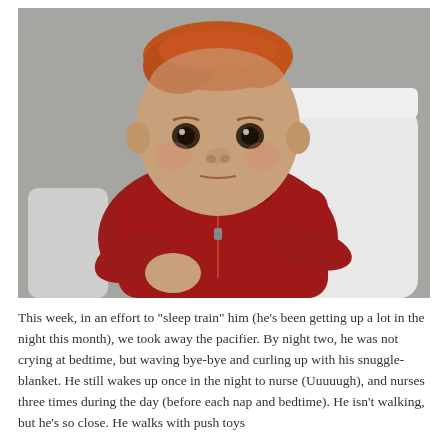[Figure (photo): A baby with reddish hair wearing a red zip-up hoodie, sitting in a white high chair against a gray background, looking directly at the camera with a serious expression.]
This week, in an effort to "sleep train" him (he's been getting up a lot in the night this month), we took away the pacifier. By night two, he was not crying at bedtime, but waving bye-bye and curling up with his snuggle-blanket. He still wakes up once in the night to nurse (Uuuuugh), and nurses three times during the day (before each nap and bedtime). He isn't walking, but he's so close. He walks with push toys